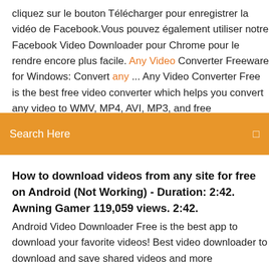cliquez sur le bouton Télécharger pour enregistrer la vidéo de Facebook.Vous pouvez également utiliser notre Facebook Video Downloader pour Chrome pour le rendre encore plus facile. Any Video Converter Freeware for Windows: Convert any ... Any Video Converter Free is the best free video converter which helps you convert any video to WMV, MP4, AVI, MP3, and free
[Figure (screenshot): Orange search bar with text 'Search Here' and a small icon on the right]
How to download videos from any site for free on Android (Not Working) - Duration: 2:42. Awning Gamer 119,059 views. 2:42.
Android Video Downloader Free is the best app to download your favorite videos! Best video downloader to download and save shared videos and more fr.savefrom.net - Telecharger video youtube Telecharger video youtube. Online Video Downloader de SaveFrom.Net est un excellent service qui permet de télécharger des vidéos ou de la musique rapidement